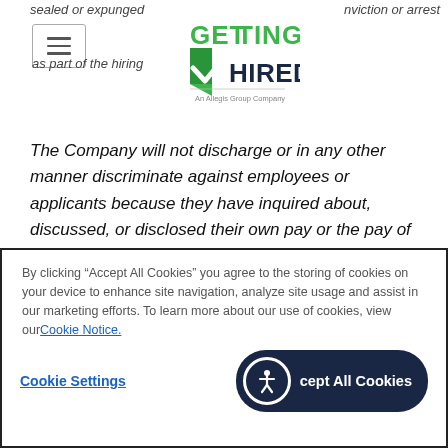sealed or expunged ... inviction or arrest as part of the hiring ...
[Figure (logo): Getting Hired logo — An Allegis Group Company]
The Company will not discharge or in any other manner discriminate against employees or applicants because they have inquired about, discussed, or disclosed their own pay or the pay of another employee or applicant. Additionally, employees who have access to the compensation
By clicking “Accept All Cookies” you agree to the storing of cookies on your device to enhance site navigation, analyze site usage and assist in our marketing efforts. To learn more about our use of cookies, view our Cookie Notice.
Cookie Settings | Accept All Cookies